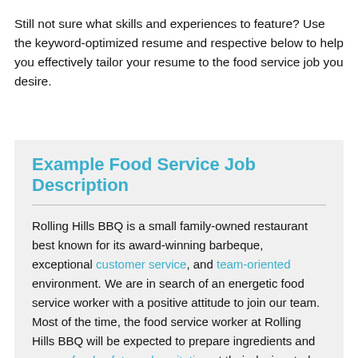Still not sure what skills and experiences to feature? Use the keyword-optimized resume and respective below to help you effectively tailor your resume to the food service job you desire.
Example Food Service Job Description
Rolling Hills BBQ is a small family-owned restaurant best known for its award-winning barbeque, exceptional customer service, and team-oriented environment. We are in search of an energetic food service worker with a positive attitude to join our team. Most of the time, the food service worker at Rolling Hills BBQ will be expected to prepare ingredients and ensure food safety and sanitation at their designated station